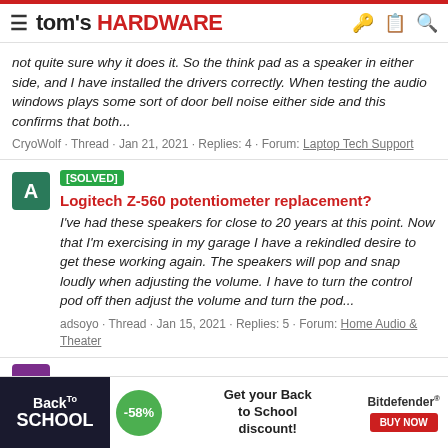tom's HARDWARE
not quite sure why it does it. So the think pad as a speaker in either side, and I have installed the drivers correctly. When testing the audio windows plays some sort of door bell noise either side and this confirms that both...
CryoWolf · Thread · Jan 21, 2021 · Replies: 4 · Forum: Laptop Tech Support
[SOLVED] Logitech Z-560 potentiometer replacement?
I've had these speakers for close to 20 years at this point. Now that I'm exercising in my garage I have a rekindled desire to get these working again. The speakers will pop and snap loudly when adjusting the volume. I have to turn the control pod off then adjust the volume and turn the pod...
adsoyo · Thread · Jan 15, 2021 · Replies: 5 · Forum: Home Audio & Theater
[Figure (infographic): Back to School advertisement banner with Bitdefender promotion showing -58% discount and Buy Now button]